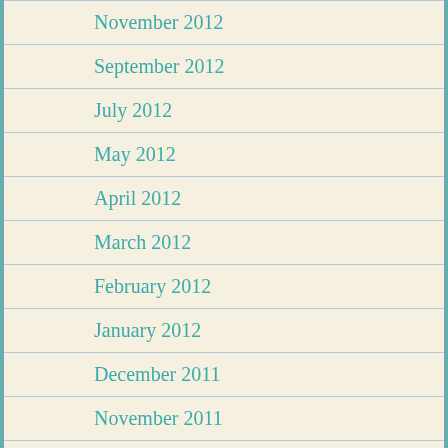November 2012
September 2012
July 2012
May 2012
April 2012
March 2012
February 2012
January 2012
December 2011
November 2011
October 2011
September 2011
August 2011